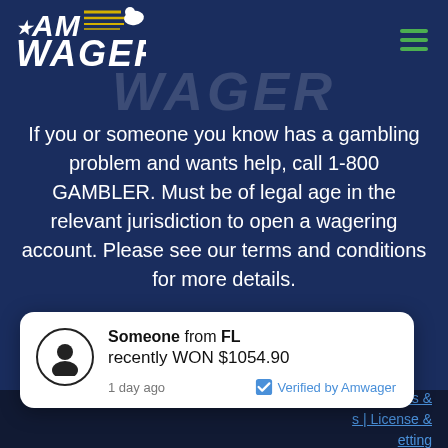[Figure (logo): AM WAGER logo with star, speed lines, and horse silhouette in white italic bold text on dark blue background]
[Figure (other): Hamburger menu icon with three green horizontal lines in top-right corner]
[Figure (other): Watermark text WAGER in large semi-transparent italic letters]
If you or someone you know has a gambling problem and wants help, call 1-800 GAMBLER. Must be of legal age in the relevant jurisdiction to open a wagering account. Please see our terms and conditions for more details.
[Figure (other): White popup notification card: Someone from FL recently WON $1054.90, 1 day ago, Verified by Amwager, with user avatar icon]
Terms & | License & etting